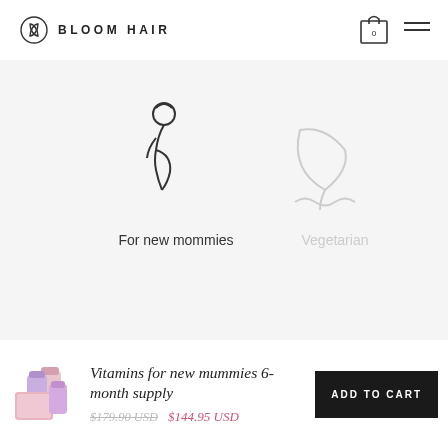[Figure (logo): Bloom Hair logo with leaf/petal icon and text BLOOM HAIR in bold uppercase letters]
[Figure (illustration): Header navigation icons: shopping bag with 0 count, and hamburger menu icon]
[Figure (illustration): Icon of a pregnant woman silhouette (line drawing) with label 'For new mommies'; and faded vegetarian/leaf icon with faded label 'Vegetarian']
For new mommies
Vegetarian
[Figure (photo): Small product image of vitamin supplement bottles in pink/purple tones]
Vitamins for new mummies 6-month supply
$179.90 USD  $144.95 USD